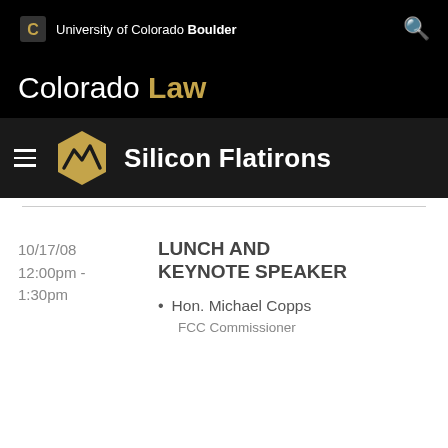University of Colorado Boulder
Colorado Law
[Figure (logo): Silicon Flatirons logo with hexagon icon and text]
10/17/08
12:00pm - 1:30pm
LUNCH AND KEYNOTE SPEAKER
Hon. Michael Copps
FCC Commissioner